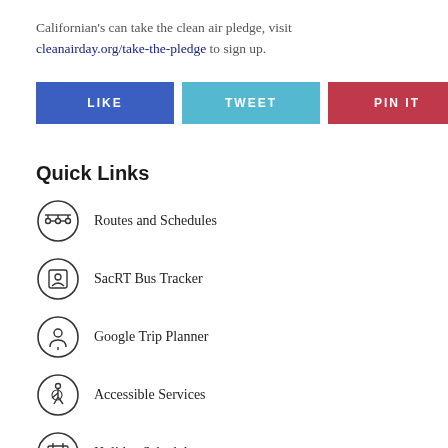Californian's can take the clean air pledge, visit cleanairday.org/take-the-pledge to sign up.
[Figure (infographic): Three social sharing buttons: LIKE (blue), TWEET (light blue), PIN IT (red)]
Quick Links
Routes and Schedules
SacRT Bus Tracker
Google Trip Planner
Accessible Services
Holiday Schedule